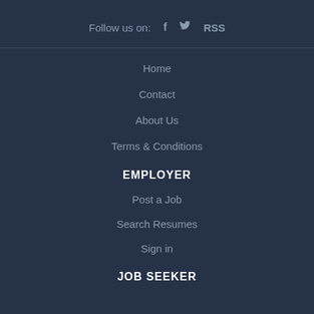Follow us on:   f   🐦   RSS
Home
Contact
About Us
Terms & Conditions
EMPLOYER
Post a Job
Search Resumes
Sign in
JOB SEEKER